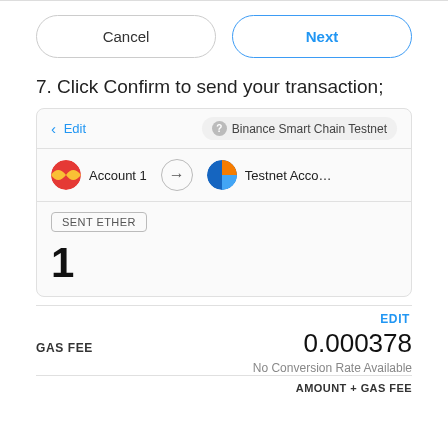[Figure (screenshot): Cancel and Next buttons row]
7. Click Confirm to send your transaction;
[Figure (screenshot): Wallet confirmation UI showing Edit link, Binance Smart Chain Testnet badge, Account 1 to Testnet Acco... transfer, Sent Ether badge, amount 1, Gas Fee 0.000378, No Conversion Rate Available, and AMOUNT + GAS FEE label]